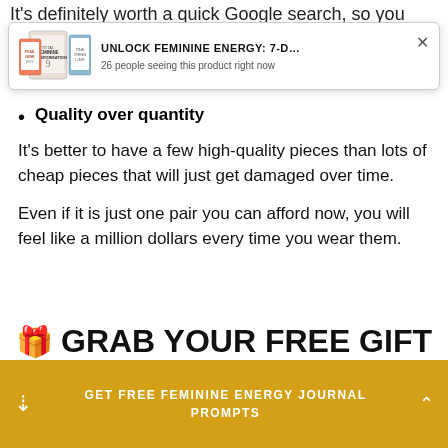It's definitely worth a quick Google search, so you
[Figure (screenshot): Popup ad card for 'Unlock Feminine Energy: 7-D...' product showing book/tablet images on left, title text, '26 people seeing this product right now', and an X close button]
Quality over quantity
It's better to have a few high-quality pieces than lots of cheap pieces that will just get damaged over time.
Even if it is just one pair you can afford now, you will feel like a million dollars every time you wear them.
🎁 GRAB YOUR FREE GIFT
GET FREE FEMININE ENERGY JOURNAL PROMPTS